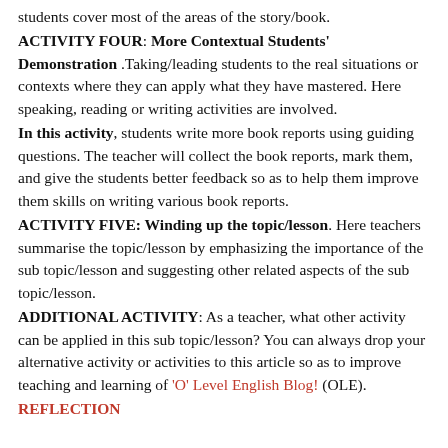students cover most of the areas of the story/book.
ACTIVITY FOUR: More Contextual Students' Demonstration .Taking/leading students to the real situations or contexts where they can apply what they have mastered. Here speaking, reading or writing activities are involved.
In this activity, students write more book reports using guiding questions. The teacher will collect the book reports, mark them, and give the students better feedback so as to help them improve them skills on writing various book reports.
ACTIVITY FIVE: Winding up the topic/lesson. Here teachers summarise the topic/lesson by emphasizing the importance of the sub topic/lesson and suggesting other related aspects of the sub topic/lesson.
ADDITIONAL ACTIVITY: As a teacher, what other activity can be applied in this sub topic/lesson? You can always drop your alternative activity or activities to this article so as to improve teaching and learning of ‘O’ Level English Blog! (OLE).
REFLECTION